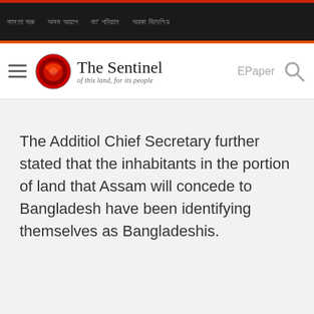The Sentinel — of this land, for its people
The Additiol Chief Secretary further stated that the inhabitants in the portion of land that Assam will concede to Bangladesh have been identifying themselves as Bangladeshis.